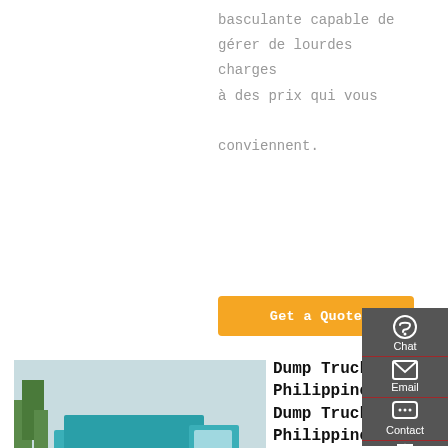basculante capable de gérer de lourdes charges à des prix qui vous conviennent.
[Figure (other): Orange 'Get a Quote' button]
[Figure (photo): Blue/teal dump truck parked on road with trees in background]
Dump Truck For Philippines, Dump Truck For Philippines
Front lifting hydraulic 24m3 25m3 26m3 8x4 12 wheels dump trucks for sale philippines 18-25
[Figure (other): Sidebar with Chat, Email, Contact, Top navigation icons on dark gray background]